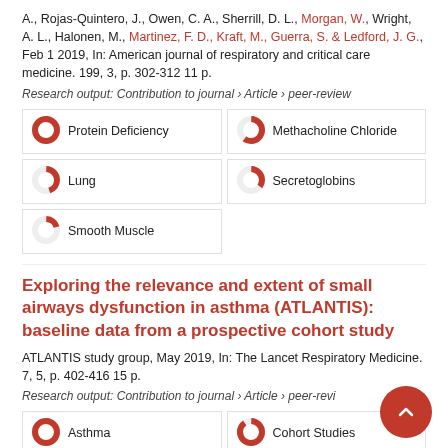A., Rojas-Quintero, J., Owen, C. A., Sherrill, D. L., Morgan, W., Wright, A. L., Halonen, M., Martinez, F. D., Kraft, M., Guerra, S. & Ledford, J. G., Feb 1 2019, In: American journal of respiratory and critical care medicine. 199, 3, p. 302-312 11 p.
Research output: Contribution to journal › Article › peer-review
[Figure (other): Badge showing 100% Protein Deficiency]
[Figure (other): Badge showing 60% Methacholine Chloride]
[Figure (other): Badge showing 45% Lung]
[Figure (other): Badge showing 35% Secretoglobins]
[Figure (other): Badge showing 20% Smooth Muscle]
Exploring the relevance and extent of small airways dysfunction in asthma (ATLANTIS): baseline data from a prospective cohort study
ATLANTIS study group, May 2019, In: The Lancet Respiratory Medicine. 7, 5, p. 402-416 15 p.
Research output: Contribution to journal › Article › peer-review
[Figure (other): Badge showing 100% Asthma]
[Figure (other): Badge showing 90% Cohort Studies]
[Figure (other): Badge showing 65% Prospective Studies]
[Figure (other): Badge showing 55% Oscillometry]